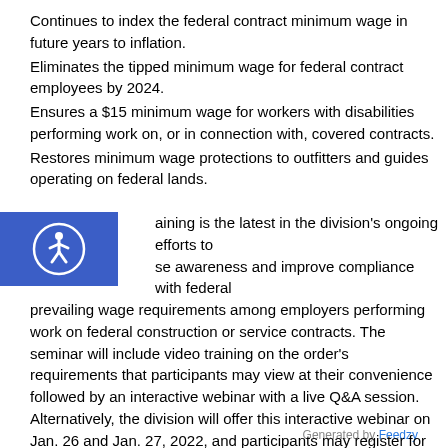Continues to index the federal contract minimum wage in future years to inflation.
Eliminates the tipped minimum wage for federal contract employees by 2024.
Ensures a $15 minimum wage for workers with disabilities performing work on, or in connection with, covered contracts.
Restores minimum wage protections to outfitters and guides operating on federal lands.
[Figure (logo): Accessibility icon (wheelchair/person symbol) in white on blue background square]
aining is the latest in the division's ongoing efforts to se awareness and improve compliance with federal prevailing wage requirements among employers performing work on federal construction or service contracts. The seminar will include video training on the order's requirements that participants may view at their convenience followed by an interactive webinar with a live Q&A session. Alternatively, the division will offer this interactive webinar on Jan. 26 and Jan. 27, 2022, and participants may register for either date.
Generated by Feedzy